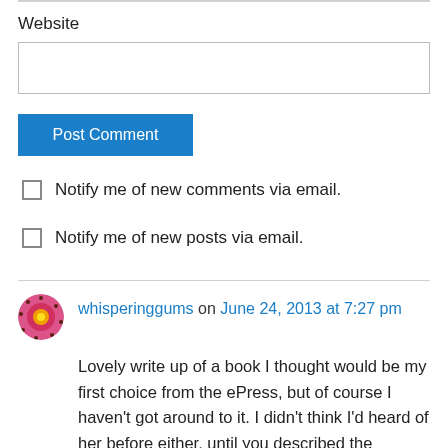Website
Post Comment
Notify me of new comments via email.
Notify me of new posts via email.
whisperinggums on June 24, 2013 at 7:27 pm
Lovely write up of a book I thought would be my first choice from the ePress, but of course I haven't got around to it. I didn't think I'd heard of her before either, until you described the